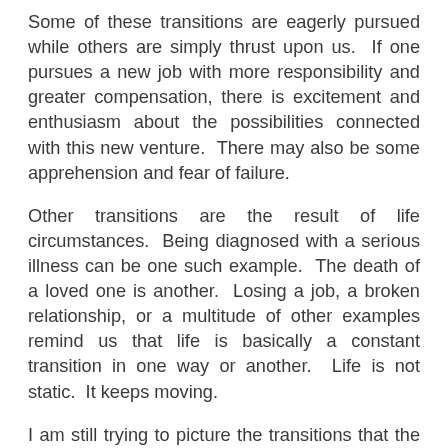Some of these transitions are eagerly pursued while others are simply thrust upon us. If one pursues a new job with more responsibility and greater compensation, there is excitement and enthusiasm about the possibilities connected with this new venture. There may also be some apprehension and fear of failure.
Other transitions are the result of life circumstances. Being diagnosed with a serious illness can be one such example. The death of a loved one is another. Losing a job, a broken relationship, or a multitude of other examples remind us that life is basically a constant transition in one way or another. Life is not static. It keeps moving.
I am still trying to picture the transitions that the winner of the lottery will experience.